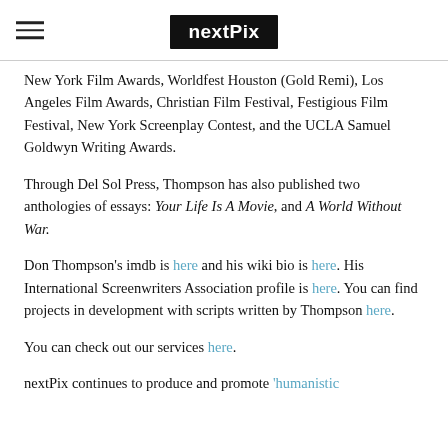nextPix
New York Film Awards, Worldfest Houston (Gold Remi), Los Angeles Film Awards, Christian Film Festival, Festigious Film Festival, New York Screenplay Contest, and the UCLA Samuel Goldwyn Writing Awards.
Through Del Sol Press, Thompson has also published two anthologies of essays: Your Life Is A Movie, and A World Without War.
Don Thompson's imdb is here and his wiki bio is here. His International Screenwriters Association profile is here. You can find projects in development with scripts written by Thompson here.
You can check out our services here.
nextPix continues to produce and promote 'humanistic